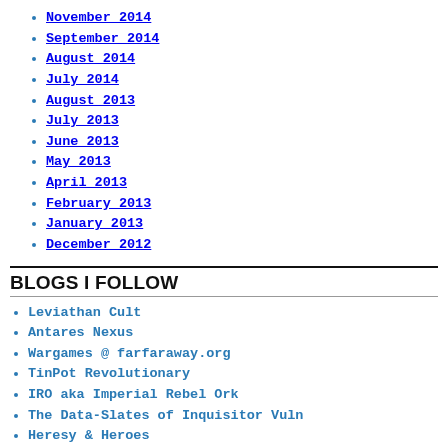November 2014
September 2014
August 2014
July 2014
August 2013
July 2013
June 2013
May 2013
April 2013
February 2013
January 2013
December 2012
BLOGS I FOLLOW
Leviathan Cult
Antares Nexus
Wargames @ farfaraway.org
TinPot Revolutionary
IRO aka Imperial Rebel Ork
The Data-Slates of Inquisitor Vuln
Heresy & Heroes
Zero's Hobby Zone